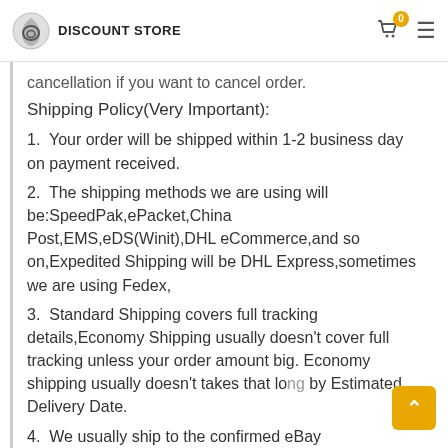DISCOUNT STORE
cancellation if you want to cancel order.
Shipping Policy(Very Important):
1.  Your order will be shipped within 1-2 business day on payment received.
2.  The shipping methods we are using will be:SpeedPak,ePacket,China Post,EMS,eDS(Winit),DHL eCommerce,and so on,Expedited Shipping will be DHL Express,sometimes we are using Fedex,
3.  Standard Shipping covers full tracking details,Economy Shipping usually doesn't cover full tracking unless your order amount big. Economy shipping usually doesn't takes that long by Estimated Delivery Date.
4.  We usually ship to the confirmed eBay